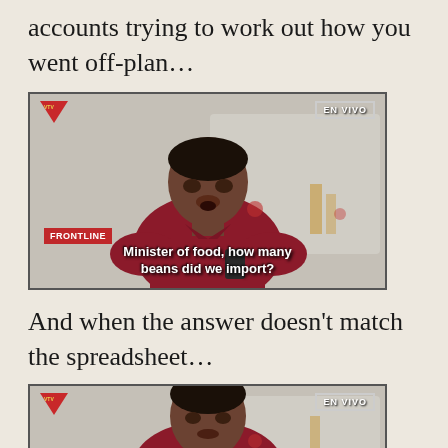accounts trying to work out how you went off-plan…
[Figure (screenshot): TV broadcast screenshot showing a man in a red shirt sitting, with subtitle text 'Minister of food, how many beans did we import?' FRONTLINE badge bottom-left, EN VIVO badge top-right, Venezuelan TV logo top-left.]
And when the answer doesn't match the spreadsheet…
[Figure (screenshot): Second TV broadcast screenshot showing the same man in a red shirt, same EN VIVO and logo overlays, cropped at bottom of page.]